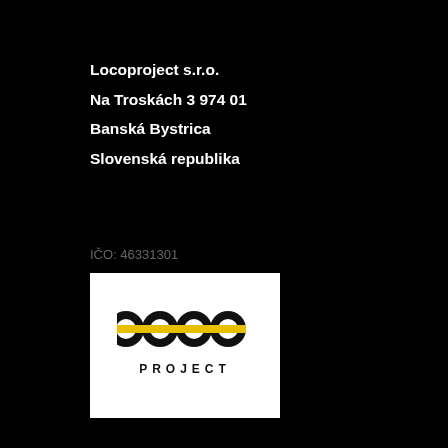Locoproject s.r.o.
Na Troskách 3 974 01
Banská Bystrica
Slovenská republika
IČO: 46331301
DIČ: 2023337987
IČ DPH: SK2023337987
[Figure (logo): Locoproject logo — white square background with 'LOCO PROJECT' text, where LOCO letters are stylized black circles with yellow horizontal lines through them]